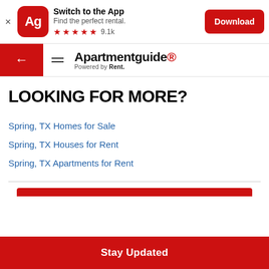[Figure (screenshot): App banner with Ag icon, 'Switch to the App' text, 'Find the perfect rental.', 5 stars, 9.1k reviews, and a Download button]
Apartmentguide Powered by Rent.
LOOKING FOR MORE?
Spring, TX Homes for Sale
Spring, TX Houses for Rent
Spring, TX Apartments for Rent
[Figure (other): Partial red bar visible near bottom]
Stay Updated